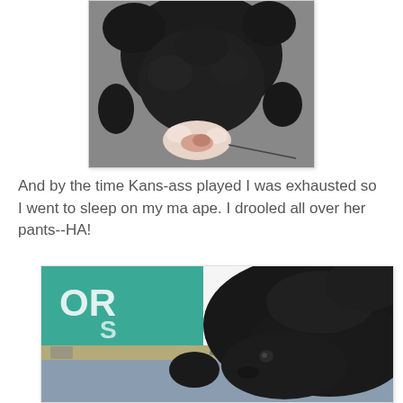[Figure (photo): Black dog eating or chewing on something pink/white, viewed from above, lying on a gray surface]
And by the time Kans-ass played I was exhausted so I went to sleep on my ma ape. I drooled all over her pants--HA!
[Figure (photo): Black dog sleeping on a person's lap, person wearing a teal green shirt and gray pants with a khaki belt]